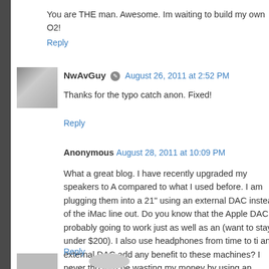You are THE man. Awesome. Im waiting to build my own O2!
Reply
NwAvGuy August 26, 2011 at 2:52 PM
Thanks for the typo catch anon. Fixed!
Reply
Anonymous August 28, 2011 at 10:09 PM
What a great blog. I have recently upgraded my speakers to A compared to what I used before. I am plugging them into a 21" using an external DAC instead of the iMac line out. Do you know that the Apple DAC is probably going to work just as well as an (want to stay under $200). I also use headphones from time to ti an external DAC add any benefit to these machines? I never tho if I'd be wasting my money by using an external DAC or, even Apple is using internally in these machines.
Reply